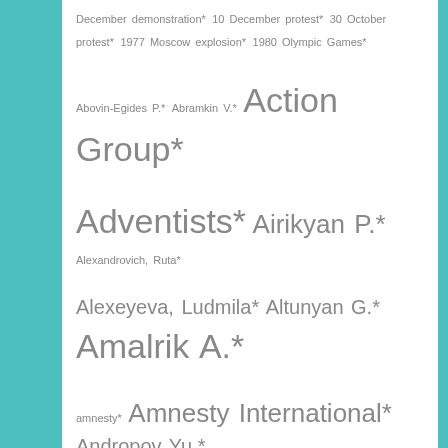[Figure (infographic): Tag cloud of index terms with asterisks, varying font sizes indicating frequency, on white background with teal border on left side. Terms include: December demonstration*, 10 December protest*, 30 October protest*, 1977 Moscow explosion*, 1980 Olympic Games*, Abovin-Egides P.*, Abramkin V.*, Action Group*, Adventists*, Airikyan P.*, Alexandrovich Ruta*, Alexeyeva Ludmila*, Altunyan G.*, Amalrik A.*, amnesty*, Amnesty International*, Andropov Yu.*, Antonyuk Z.*, Ariya S.*, Armenian Helsinki Group*, Armenian SSR*, army*, Article 64*, Article 70*, Article 142*, Article 190-1*, Article 190-3*, Article 206*, Article 209*, Articles 70 & 72*, Azerbaijani SSR*, Babitsky K.*, Baby Yar*, Bakhmin V.*, Baptists*, Barlandyanu V.*, Bashkirov P.*, Bedrilo S.*, Begun I.*, Belgrade Conference (1977-1980), Belorussian SSR*]